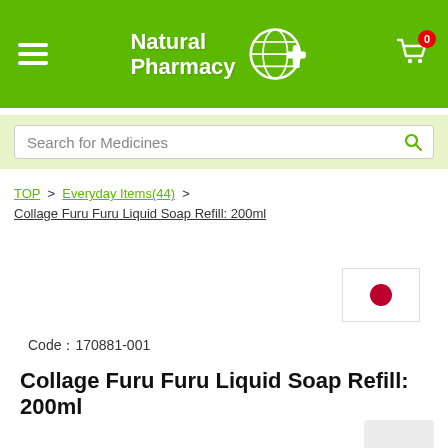[Figure (logo): Natural Pharmacy+ logo with globe and cross icon on green background, hamburger menu on left, shopping cart with badge '0' on right]
Search for Medicines
TOP > Everyday Items(44) > Collage Furu Furu Liquid Soap Refill: 200ml
[Figure (illustration): Japan national flag: white background with red circle in center]
Code：170881-001
Collage Furu Furu Liquid Soap Refill: 200ml